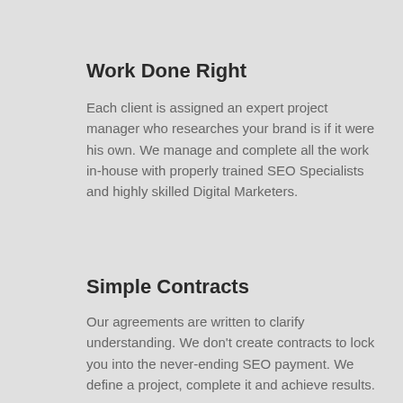Work Done Right
Each client is assigned an expert project manager who researches your brand is if it were his own. We manage and complete all the work in-house with properly trained SEO Specialists and highly skilled Digital Marketers.
Simple Contracts
Our agreements are written to clarify understanding. We don't create contracts to lock you into the never-ending SEO payment. We define a project, complete it and achieve results.